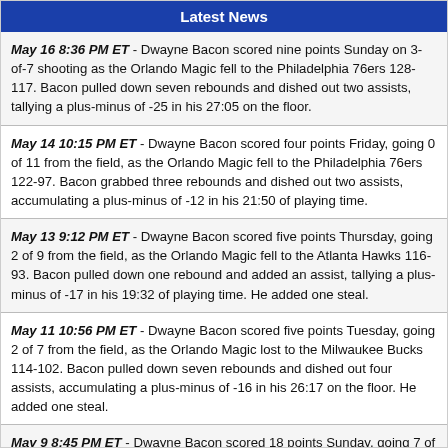Latest News
May 16 8:36 PM ET - Dwayne Bacon scored nine points Sunday on 3-of-7 shooting as the Orlando Magic fell to the Philadelphia 76ers 128-117. Bacon pulled down seven rebounds and dished out two assists, tallying a plus-minus of -25 in his 27:05 on the floor.
May 14 10:15 PM ET - Dwayne Bacon scored four points Friday, going 0 of 11 from the field, as the Orlando Magic fell to the Philadelphia 76ers 122-97. Bacon grabbed three rebounds and dished out two assists, accumulating a plus-minus of -12 in his 21:50 of playing time.
May 13 9:12 PM ET - Dwayne Bacon scored five points Thursday, going 2 of 9 from the field, as the Orlando Magic fell to the Atlanta Hawks 116-93. Bacon pulled down one rebound and added an assist, tallying a plus-minus of -17 in his 19:32 of playing time. He added one steal.
May 11 10:56 PM ET - Dwayne Bacon scored five points Tuesday, going 2 of 7 from the field, as the Orlando Magic lost to the Milwaukee Bucks 114-102. Bacon pulled down seven rebounds and dished out four assists, accumulating a plus-minus of -16 in his 26:17 on the floor. He added one steal.
May 9 8:45 PM ET - Dwayne Bacon scored 18 points Sunday, going 7 of 12 from the field, as the Orlando Magic lost to the Minnesota Timberwolves 128-96. Bacon pulled down three rebounds and had two assists, accumulating a plus-minus of -23 in his 30:30 on the floor. He also connected on Bacon went 4 of 9 from 3-point...